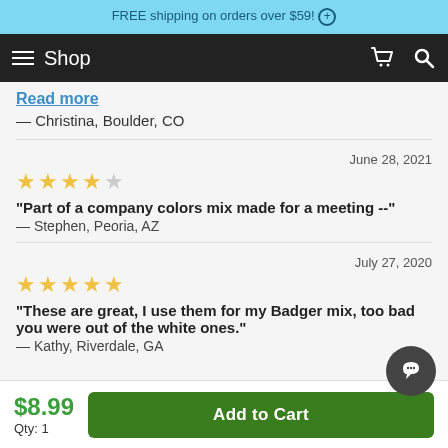FREE shipping on orders over $59!
Shop
Read more
— Christina, Boulder, CO
June 28, 2021
★★★★☆
"Part of a company colors mix made for a meeting --"
— Stephen, Peoria, AZ
July 27, 2020
★★★★★
"These are great, I use them for my Badger mix, too bad you were out of the white ones."
— Kathy, Riverdale, GA
$8.99
Qty: 1
Add to Cart